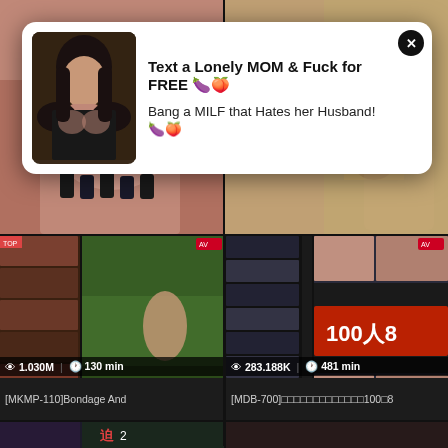[Figure (photo): Top-left adult content thumbnail image]
[Figure (photo): Top-right adult content thumbnail image]
[Figure (photo): Video thumbnail for [MKMP-110] Bondage And with 1.030M views and 130 min duration]
👁 1.030M   🕐 130 min
[MKMP-110]Bondage And
[Figure (photo): Video thumbnail for [MDB-700] with 283.188K views and 481 min duration]
👁 283.188K   🕐 481 min
[MDB-700]□□□□□□□□□□□□□100□8
[Figure (photo): Bottom-left video thumbnail partial view]
[Figure (photo): Bottom-right video thumbnail partial view]
[Figure (photo): Ad popup: woman photo with text 'Text a Lonely MOM & Fuck for FREE 🍆🍑 Bang a MILF that Hates her Husband! 🍆🍑']